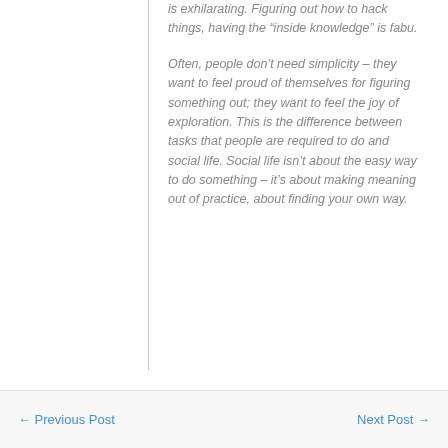is exhilarating. Figuring out how to hack things, having the “inside knowledge” is fabu.
Often, people don’t need simplicity – they want to feel proud of themselves for figuring something out; they want to feel the joy of exploration. This is the difference between tasks that people are required to do and social life. Social life isn’t about the easy way to do something – it’s about making meaning out of practice, about finding your own way.
← Previous Post    Next Post →